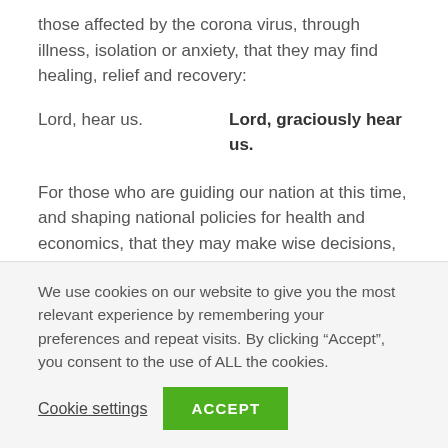those affected by the corona virus, through illness, isolation or anxiety, that they may find healing, relief and recovery:
Lord, hear us.    Lord, graciously hear us.
For those who are guiding our nation at this time, and shaping national policies for health and economics, that they may make wise decisions, in the interest of all in their care:
We use cookies on our website to give you the most relevant experience by remembering your preferences and repeat visits. By clicking “Accept”, you consent to the use of ALL the cookies.
Cookie settings   ACCEPT